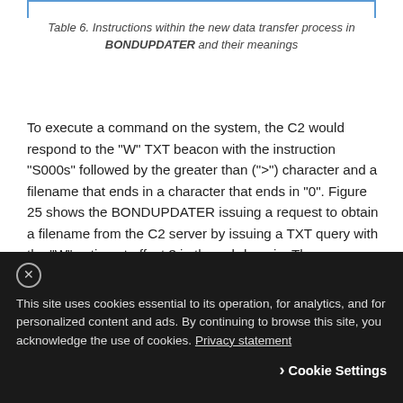Table 6. Instructions within the new data transfer process in BONDUPDATER and their meanings
To execute a command on the system, the C2 would respond to the "W" TXT beacon with the instruction "S000s" followed by the greater than (">") character and a filename that ends in a character that ends in "0". Figure 25 shows the BONDUPDATER issuing a request to obtain a filename from the C2 server by issuing a TXT query with the "W" action at offset 3 in the subdomain. The screenshot also shows the C2 responding to the query with "S000s>10100", which tells the Trojan to create a file named "rcvd10100", as the Trojan will append the provided filename to the string "rcvd".
This site uses cookies essential to its operation, for analytics, and for personalized content and ads. By continuing to browse this site, you acknowledge the use of cookies. Privacy statement
Cookie Settings